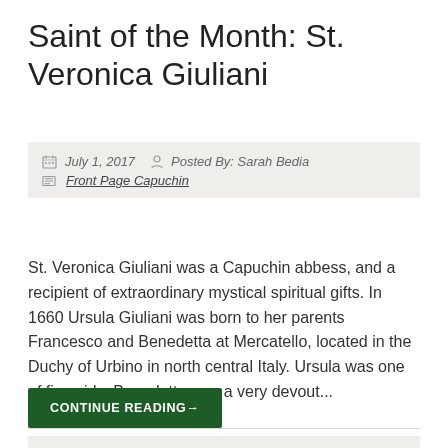Saint of the Month: St. Veronica Giuliani
July 1, 2017   Posted By: Sarah Bedia   Front Page Capuchin
St. Veronica Giuliani was a Capuchin abbess, and a recipient of extraordinary mystical spiritual gifts. In 1660 Ursula Giuliani was born to her parents Francesco and Benedetta at Mercatello, located in the Duchy of Urbino in north central Italy. Ursula was one of five girls. Benedetta was a very devout...
CONTINUE READING→